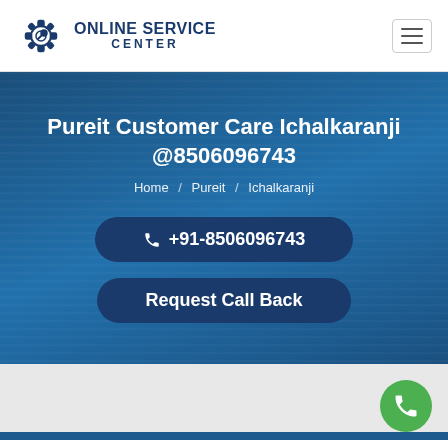ONLINE SERVICE CENTER
Pureit Customer Care Ichalkaranji @8506096743
Home / Pureit / Ichalkaranji
+91-8506096743
Request Call Back
[Figure (logo): Green circle phone floating action button in bottom right]